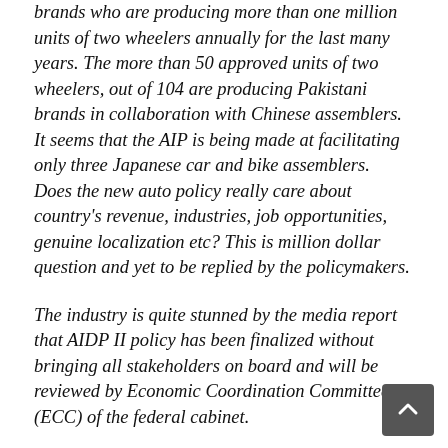brands who are producing more than one million units of two wheelers annually for the last many years. The more than 50 approved units of two wheelers, out of 104 are producing Pakistani brands in collaboration with Chinese assemblers. It seems that the AIP is being made at facilitating only three Japanese car and bike assemblers. Does the new auto policy really care about country's revenue, industries, job opportunities, genuine localization etc? This is million dollar question and yet to be replied by the policymakers.
The industry is quite stunned by the media report that AIDP II policy has been finalized without bringing all stakeholders on board and will be reviewed by Economic Coordination Committee (ECC) of the federal cabinet.
They pointed out that ECC in its meeting on August 26, 2014 had deferred the decision on the policy with the direction that the policy draft should be shared with all stakeholders